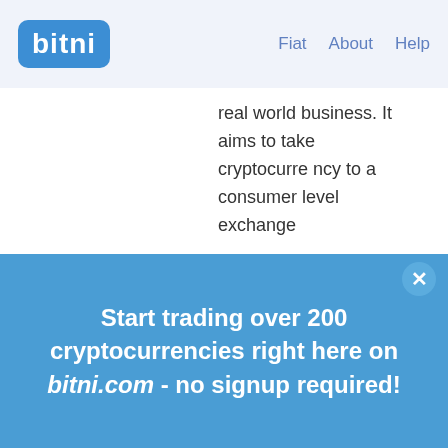bitni   Fiat   About   Help
real world business. It aims to take cryptocurrency to a consumer level exchange
Start trading over 200 cryptocurrencies right here on bitni.com - no signup required!